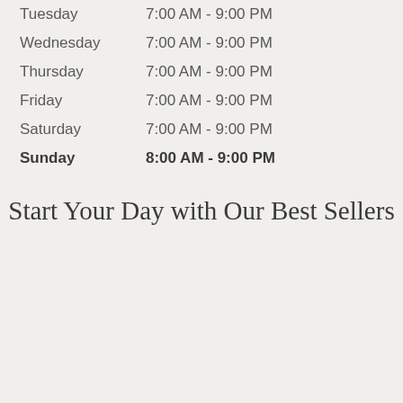| Day | Hours |
| --- | --- |
| Tuesday | 7:00 AM - 9:00 PM |
| Wednesday | 7:00 AM - 9:00 PM |
| Thursday | 7:00 AM - 9:00 PM |
| Friday | 7:00 AM - 9:00 PM |
| Saturday | 7:00 AM - 9:00 PM |
| Sunday | 8:00 AM - 9:00 PM |
Start Your Day with Our Best Sellers